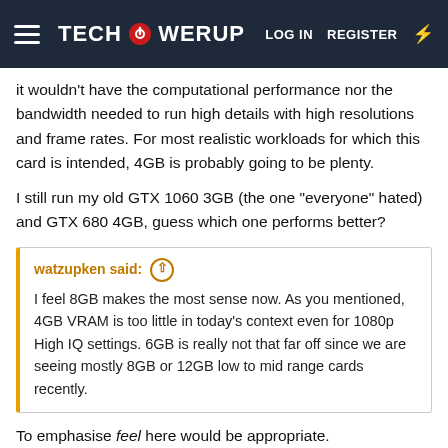TECHPOWERUP — LOG IN  REGISTER
it wouldn't have the computational performance nor the bandwidth needed to run high details with high resolutions and frame rates. For most realistic workloads for which this card is intended, 4GB is probably going to be plenty.
I still run my old GTX 1060 3GB (the one "everyone" hated) and GTX 680 4GB, guess which one performs better?
watzupken said: I feel 8GB makes the most sense now. As you mentioned, 4GB VRAM is too little in today's context even for 1080p High IQ settings. 6GB is really not that far off since we are seeing mostly 8GB or 12GB low to mid range cards recently.
To emphasise feel here would be appropriate.
4GB is probably going to be plenty.
wolf and docnorth